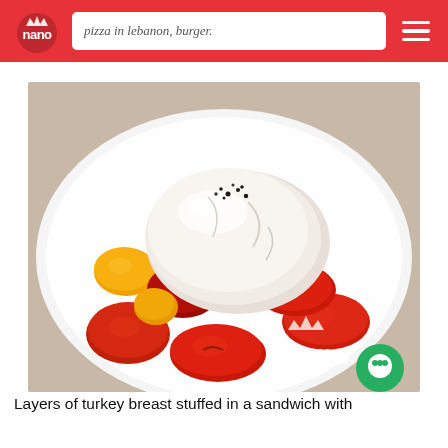pizza in lebanon, burger.
[Figure (photo): A white plate with burrata cheese on top of halved cherry tomatoes in red, yellow, and dark colors, garnished with basil leaves and black pepper, with nano watermark logo in lower right corner]
Layers of turkey breast stuffed in a sandwich with